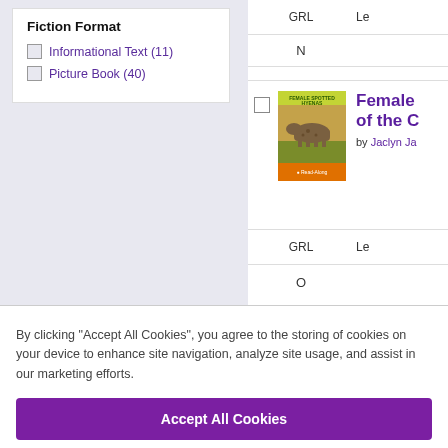Fiction Format
Informational Text (11)
Picture Book (40)
| GRL | Le |
| --- | --- |
| N |  |
[Figure (photo): Book cover of 'Female Spotted Hyenas' with a hyena on a savanna background]
Female [title continues] of the C[ontinued]
by Jaclyn Ja[cobs]
| GRL | Le |
| --- | --- |
| O |  |
By clicking “Accept All Cookies”, you agree to the storing of cookies on your device to enhance site navigation, analyze site usage, and assist in our marketing efforts.
Accept All Cookies
Cookies Settings